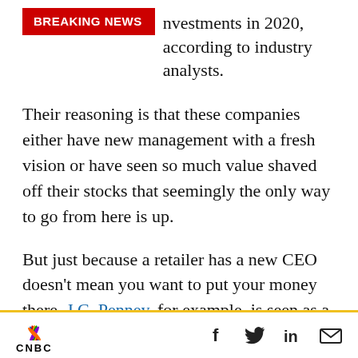BREAKING NEWS — investments in 2020, according to industry analysts.
Their reasoning is that these companies either have new management with a fresh vision or have seen so much value shaved off their stocks that seemingly the only way to go from here is up.
But just because a retailer has a new CEO doesn't mean you want to put your money there. J.C. Penney, for example, is seen as a much riskier bet in retail today, despite it bringing in new CEO Jill Soltau in October 2018. Penney is
CNBC — social icons: Facebook, Twitter, LinkedIn, Email